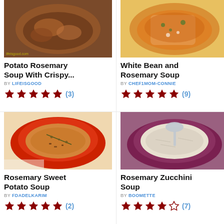[Figure (photo): Photo of Potato Rosemary Soup With Crispy... in a dark bowl with sauce]
Potato Rosemary Soup With Crispy...
BY LIFEISGOOD
[Figure (other): 5 red stars rating with (3) reviews]
[Figure (photo): Photo of White Bean and Rosemary Soup in a white bowl with orange broth]
White Bean and Rosemary Soup
BY CHEF1MOM-CONNIE
[Figure (other): 5 red stars rating with (9) reviews]
[Figure (photo): Photo of Rosemary Sweet Potato Soup in a red bowl]
Rosemary Sweet Potato Soup
BY FDADELKARIM
[Figure (other): 5 red stars rating with (2) reviews]
[Figure (photo): Photo of Rosemary Zucchini Soup in a purple bowl with spoon]
Rosemary Zucchini Soup
BY BOOMETTE
[Figure (other): 4 red stars and 1 empty star rating with (7) reviews]